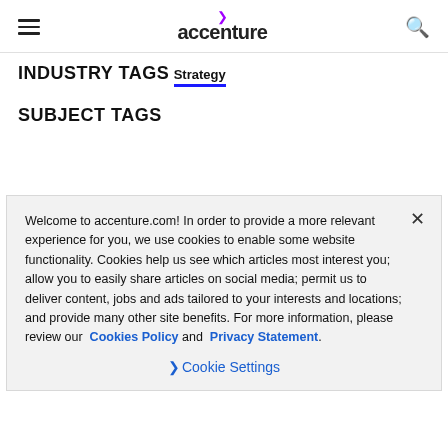accenture
INDUSTRY TAGS
Strategy
SUBJECT TAGS
Welcome to accentture.com! In order to provide a more relevant experience for you, we use cookies to enable some website functionality. Cookies help us see which articles most interest you; allow you to easily share articles on social media; permit us to deliver content, jobs and ads tailored to your interests and locations; and provide many other site benefits. For more information, please review our Cookies Policy and Privacy Statement.
Cookie Settings